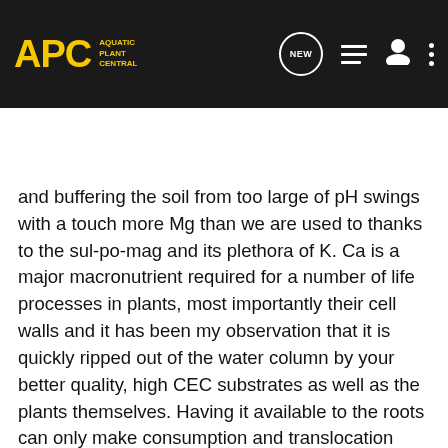[Figure (logo): APC Aquatic Plant Central logo in yellow on dark background, with navigation icons (NEW chat bubble, list icon, user icon, dots menu) on the right]
Search Community
and buffering the soil from too large of pH swings with a touch more Mg than we are used to thanks to the sul-po-mag and its plethora of K. Ca is a major macronutrient required for a number of life processes in plants, most importantly their cell walls and it has been my observation that it is quickly ripped out of the water column by your better quality, high CEC substrates as well as the plants themselves. Having it available to the roots can only make consumption and translocation more efficient for the plants and seeing as it is part of the soil, it won't throw off your water chemistry and still makes for a much needed buffer in the form of aragonite while still being Mg lean, which is important.
Laterite
Sadly, I don't have a lot to say about Laterite that hasn't already